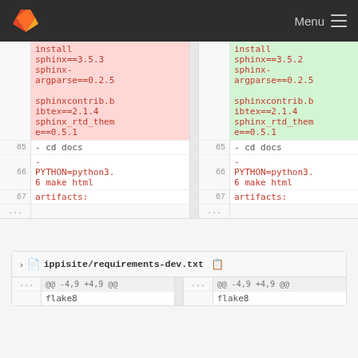Menu
|  | install sphinx==3.5.3 sphinx-argparse==0.2.5 sphinxcontrib.bibtex==2.1.4 sphinx_rtd_theme==0.5.1 |  | install sphinx==3.5.2 sphinx-argparse==0.2.5 sphinxcontrib.bibtex==2.1.4 sphinx_rtd_theme==0.5.1 |
| 65 | - cd docs | 65 | - cd docs |
| 66 | - PYTHON=python3.6 make html | 66 | - PYTHON=python3.6 make html |
| 67 | artifacts: | 67 | artifacts: |
| ... |  | ... |  |
ippisite/requirements-dev.txt
| ... | @@ -4,9 +4,9 @@ | ... | @@ -4,9 +4,9 @@ |
|  | flake8 |  | flake8 |